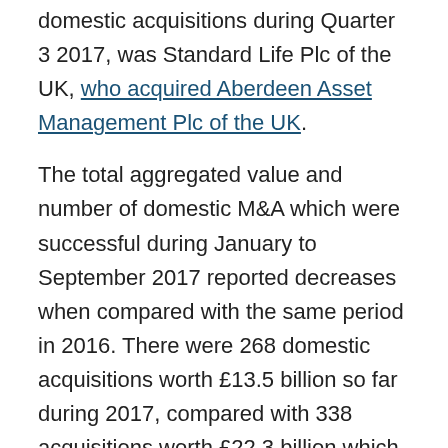domestic acquisitions during Quarter 3 2017, was Standard Life Plc of the UK, who acquired Aberdeen Asset Management Plc of the UK.
The total aggregated value and number of domestic M&A which were successful during January to September 2017 reported decreases when compared with the same period in 2016. There were 268 domestic acquisitions worth £13.5 billion so far during 2017, compared with 338 acquisitions worth £22.3 billion which for the same period in 2016.
Figure 4: Quarterly value and number of acquisitions of UK companies by other UK companies, Quarter 1 (Jan to Mar) 2006 to Quarter 3 (Jul to Sep) 2017